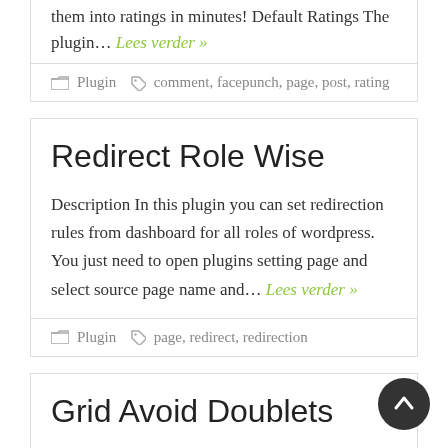them into ratings in minutes! Default Ratings The plugin… Lees verder »
Plugin   comment, facepunch, page, post, rating
Redirect Role Wise
Description In this plugin you can set redirection rules from dashboard for all roles of wordpress. You just need to open plugins setting page and select source page name and… Lees verder »
Plugin   page, redirect, redirection
Grid Avoid Doublets
Description Avoid doublets API while rendering